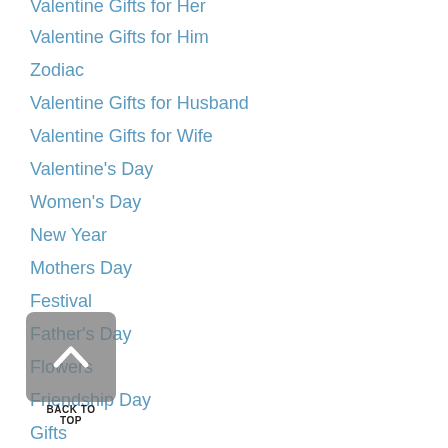Valentine Gifts for Her
Valentine Gifts for Him
Zodiac
Valentine Gifts for Husband
Valentine Gifts for Wife
Valentine's Day
Women's Day
New Year
Mothers Day
Festival
Father's Day
Flowers
Friendship Day
Gifts
DIY
Diwali